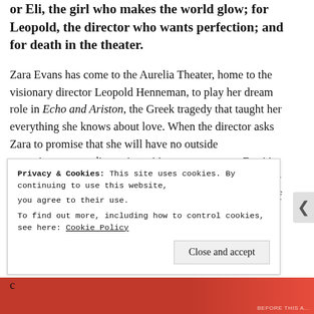or Eli, the girl who makes the world glow; for Leopold, the director who wants perfection; and for death in the theater.
Zara Evans has come to the Aurelia Theater, home to the visionary director Leopold Henneman, to play her dream role in Echo and Ariston, the Greek tragedy that taught her everything she knows about love. When the director asks Zara to promise that she will have no outside commitments, no distractions, it's easy to say yes. But it's hard not to be distracted when there's a death at the theater—and then another—especially when Zara doesn't know if they're accidents, or murder, or a curse that always comes in t... c...
Privacy & Cookies: This site uses cookies. By continuing to use this website, you agree to their use. To find out more, including how to control cookies, see here: Cookie Policy
Close and accept